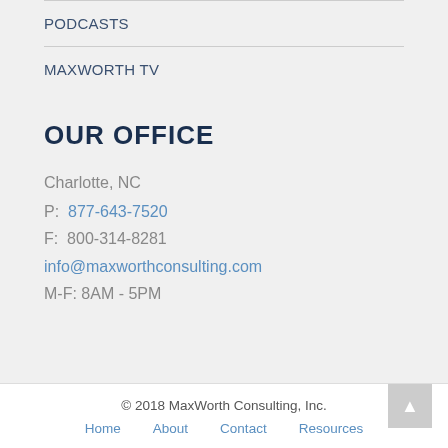PODCASTS
MAXWORTH TV
OUR OFFICE
Charlotte, NC
P:  877-643-7520
F:  800-314-8281
info@maxworthconsulting.com
M-F: 8AM - 5PM
© 2018 MaxWorth Consulting, Inc.
Home   About   Contact   Resources